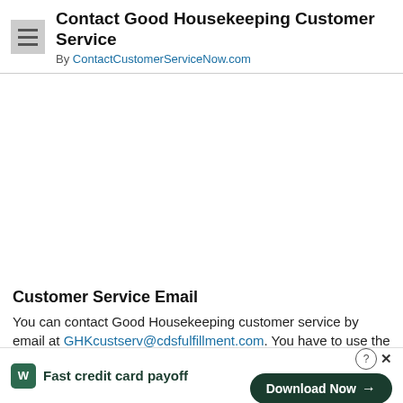Contact Good Housekeeping Customer Service
By ContactCustomerServiceNow.com
Customer Service Email
You can contact Good Housekeeping customer service by email at GHKcustserv@cdsfulfillment.com. You have to use the subject
[Figure (infographic): Tally app advertisement banner at the bottom: Tally logo icon, 'Fast credit card payoff' tagline, and a 'Download Now' button with arrow. Help (?) and close (x) icons on the right side.]